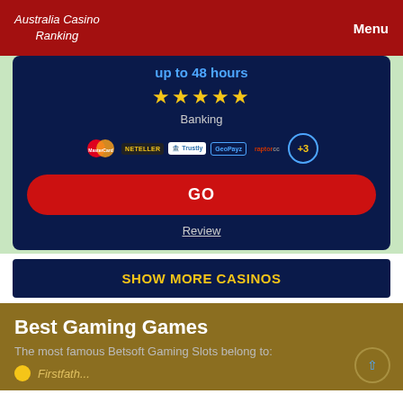Australia Casino Ranking | Menu
up to 48 hours
★★★★★
Banking
[Figure (other): Payment method logos: MasterCard, Neteller, Trustly, GeoPayz, Raptor, and +3 more indicator]
GO
Review
SHOW MORE CASINOS
Best Gaming Games
The most famous Betsoft Gaming Slots belong to:
Firstfath...